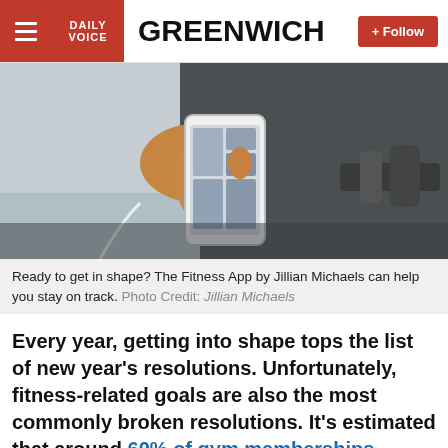DAILY VOICE GREENWICH
[Figure (photo): Person holding a smartphone, with earphones, near gym dumbbells on a dark floor]
Ready to get in shape? The Fitness App by Jillian Michaels can help you stay on track. Photo Credit: Jillian Michaels
Every year, getting into shape tops the list of new year's resolutions. Unfortunately, fitness-related goals are also the most commonly broken resolutions. It's estimated that around 60% of gym memberships started in January never get put to use. With state-mandated